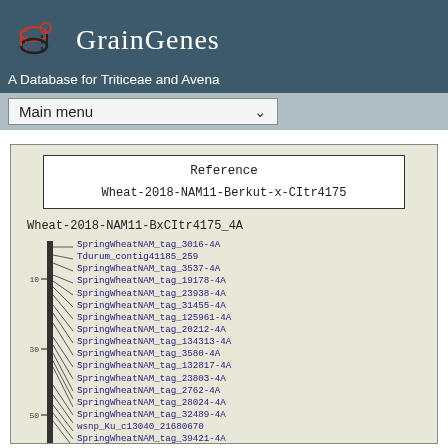GrainGenes
A Database for Triticeae and Avena
Main menu
[Figure (other): Genetic linkage map diagram showing Reference: Wheat-2018-NAM11-Berkut-x-CItr4175 and map Wheat-2018-NAM11-BxCItr4175_4A with a vertical chromosome bar and marker loci listed: SpringWheatNAM_tag_3016-4A, Tdurum_contig41185_259, SpringWheatNAM_tag_3537-4A, SpringWheatNAM_tag_19178-4A, SpringWheatNAM_tag_23938-4A, SpringWheatNAM_tag_31455-4A, SpringWheatNAM_tag_125961-4A, SpringWheatNAM_tag_20212-4A, SpringWheatNAM_tag_134313-4A, SpringWheatNAM_tag_3580-4A, SpringWheatNAM_tag_132817-4A, SpringWheatNAM_tag_23803-4A, SpringWheatNAM_tag_2762-4A, SpringWheatNAM_tag_28024-4A, SpringWheatNAM_tag_32489-4A, wsnp_Ku_c13040_21680670, SpringWheatNAM_tag_39421-4A, Excalibur_c58393_329, BS00092860_51, SpringWheatNAM_tag_26117-4A. Axis tick marks at 10, 30, 50.]